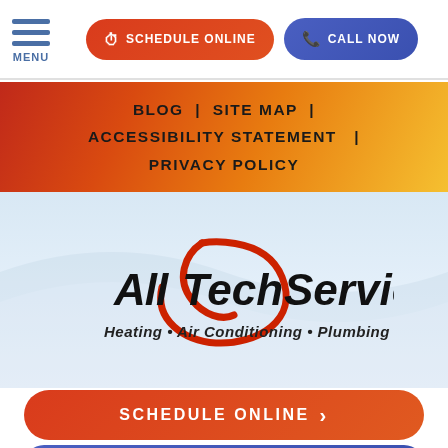MENU | SCHEDULE ONLINE | CALL NOW
BLOG | SITE MAP | ACCESSIBILITY STATEMENT | PRIVACY POLICY
[Figure (logo): AllTech Services logo with red circular swoosh graphic. Text reads 'AllTech Services' in bold italic black font. Subtitle: 'Heating • Air Conditioning • Plumbing' in italic.]
SCHEDULE ONLINE ›
(partially visible blue button at bottom)